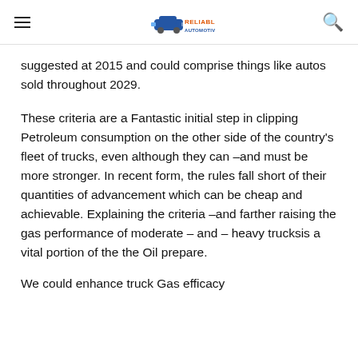Reliable Automotive
suggested at 2015 and could comprise things like autos sold throughout 2029.
These criteria are a Fantastic initial step in clipping Petroleum consumption on the other side of the country’s fleet of trucks, even although they can –and must be more stronger. In recent form, the rules fall short of their quantities of advancement which can be cheap and achievable. Explaining the criteria –and farther raising the gas performance of moderate – and – heavy trucksis a vital portion of the the Oil prepare.
We could enhance truck Gas efficacy